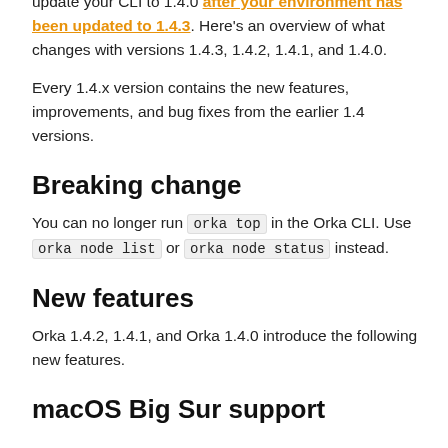features, tools, and plugins, and improve your overall Orka experience. For the latest and greatest, be sure to update your CLI to 1.4.0 after your environment has been updated to 1.4.3. Here's an overview of what changes with versions 1.4.3, 1.4.2, 1.4.1, and 1.4.0.
Every 1.4.x version contains the new features, improvements, and bug fixes from the earlier 1.4 versions.
Breaking change
You can no longer run orka top in the Orka CLI. Use orka node list or orka node status instead.
New features
Orka 1.4.2, 1.4.1, and Orka 1.4.0 introduce the following new features.
macOS Big Sur support